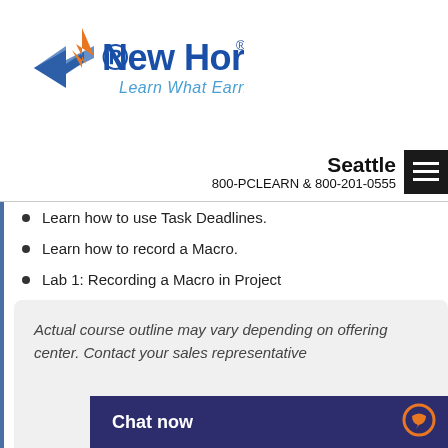[Figure (logo): New Horizons logo with tagline 'Learn What Earns']
Seattle
800-PCLEARN  & 800-201-0555
Learn how to use Task Deadlines.
Learn how to record a Macro.
Lab 1: Recording a Macro in Project
15 - SUMMARY
Learn how to access the Office App Store.
Actual course outline may vary depending on offering center. Contact your sales representative
Chat now